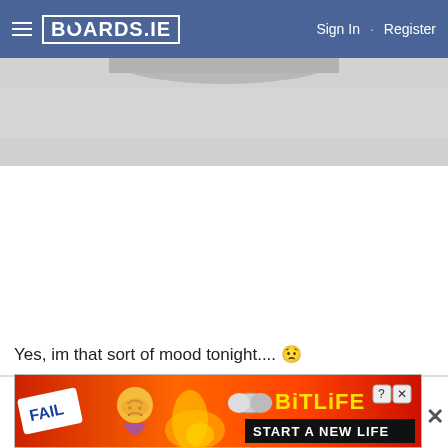BOARDS.IE  Sign In · Register
[Figure (photo): Partial screenshot of a forum post image — gray/light content area showing top of a toilet or similar object, mostly clipped]
Yes, im that sort of mood tonight.... 😟
cHaTbOx
Registered User
[Figure (screenshot): Advertisement banner for BitLife game — red/orange background with flame, cartoon character facepalming, FAIL stamp, BitLife logo, 'START A NEW LIFE' text]